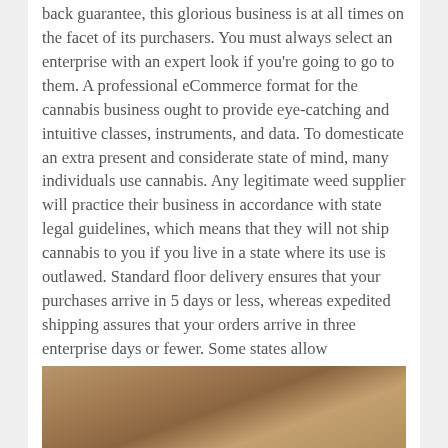back guarantee, this glorious business is at all times on the facet of its purchasers. You must always select an enterprise with an expert look if you're going to go to them. A professional eCommerce format for the cannabis business ought to provide eye-catching and intuitive classes, instruments, and data. To domesticate an extra present and considerate state of mind, many individuals use cannabis. Any legitimate weed supplier will practice their business in accordance with state legal guidelines, which means that they will not ship cannabis to you if you live in a state where its use is outlawed. Standard floor delivery ensures that your purchases arrive in 5 days or less, whereas expedited shipping assures that your orders arrive in three enterprise days or fewer. Some states allow recreational marijuana usage, while others both permit therapeutic use or prohibit it altogether. While the usage of marijuana is technically illegal within the Canada at the federal stage, whether or not or not it is legal for you to use it varies on a state-by-state basis.
[Figure (photo): Partial photo at the bottom of the page showing what appears to be cannabis/marijuana buds with a blurred background.]